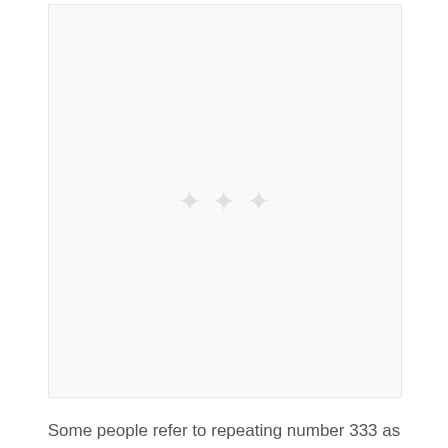[Figure (other): Large nearly-blank light grey/white rectangular image area with a faint watermark or logo in the center]
Some people refer to repeating number 333 as